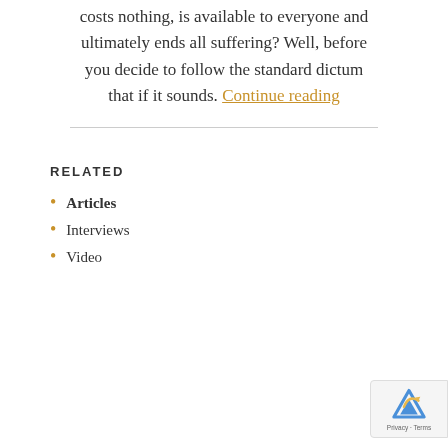costs nothing, is available to everyone and ultimately ends all suffering? Well, before you decide to follow the standard dictum that if it sounds. Continue reading
RELATED
Articles
Interviews
Video